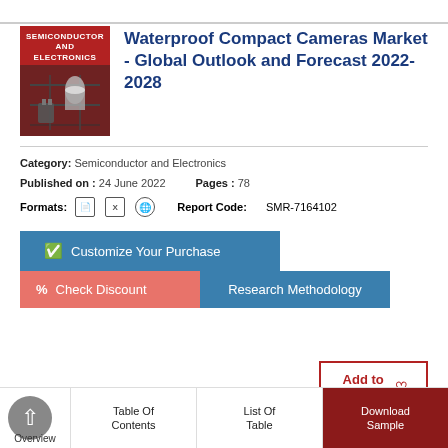[Figure (illustration): Book cover with red/dark background showing 'SEMICONDUCTOR AND ELECTRONICS' text and electronic components image]
Waterproof Compact Cameras Market - Global Outlook and Forecast 2022-2028
Category: Semiconductor and Electronics
Published on : 24 June 2022   Pages : 78
Formats: [pdf] [xls] [globe]   Report Code: SMR-7164102
Customize Your Purchase
Check Discount
Research Methodology
Add to wishlist ♡
Overview
Table Of Contents
List Of Table
Download Sample